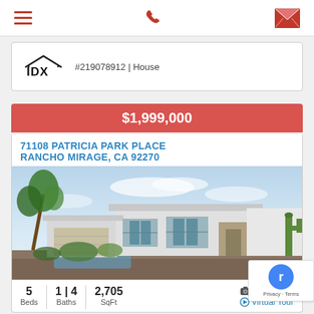Navigation bar with hamburger menu, phone icon, and mail icon
[Figure (logo): IDX logo - stylized house outline with IDX text]
#219078912 | House
$1,999,000
71108 PATRICIA PARK PLACE
RANCHO MIRAGE, CA 92270
[Figure (photo): Modern single-story house with flat roof, large windows, palm trees and cactus, pool area, desert landscaping]
5 Beds | 1 | 4 Baths | 2,705 SqFt | (20) | Virtual Tour